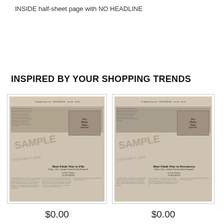INSIDE half-sheet page with NO HEADLINE
INSPIRED BY YOUR SHOPPING TRENDS
[Figure (photo): Sample newspaper front page thumbnail showing 'Bear Finds Way to Fife' headline with photo placeholder and SAMPLE watermark]
[Figure (photo): Sample newspaper front page thumbnail showing 'Bear Finds Way to Downtown' headline with photo placeholder and SAMPLE watermark]
$0.00
$0.00